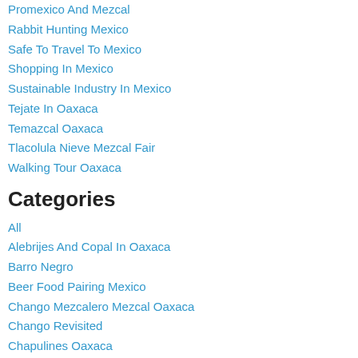Promexico And Mezcal
Rabbit Hunting Mexico
Safe To Travel To Mexico
Shopping In Mexico
Sustainable Industry In Mexico
Tejate In Oaxaca
Temazcal Oaxaca
Tlacolula Nieve Mezcal Fair
Walking Tour Oaxaca
Categories
All
Alebrijes And Copal In Oaxaca
Barro Negro
Beer Food Pairing Mexico
Chango Mezcalero Mezcal Oaxaca
Chango Revisited
Chapulines Oaxaca
Charities In Mexico Oaxaca
Charity For Women In Oaxaca
Chocolate & Mezcal